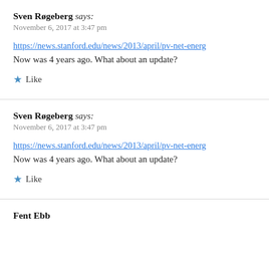Sven Røgeberg says:
November 6, 2017 at 3:47 pm
https://news.stanford.edu/news/2013/april/pv-net-energ…
Now was 4 years ago. What about an update?
★ Like
Sven Røgeberg says:
November 6, 2017 at 3:47 pm
https://news.stanford.edu/news/2013/april/pv-net-energ…
Now was 4 years ago. What about an update?
★ Like
Fent Ebb...